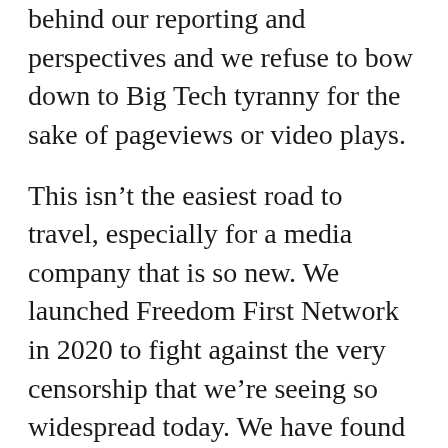behind our reporting and perspectives and we refuse to bow down to Big Tech tyranny for the sake of pageviews or video plays.
This isn't the easiest road to travel, especially for a media company that is so new. We launched Freedom First Network in 2020 to fight against the very censorship that we're seeing so widespread today. We have found great homes for our content on freer speech platforms like Rumble and we're putting our best efforts forward into building our presence on Locals. Nevertheless, we cannot do it alone. We